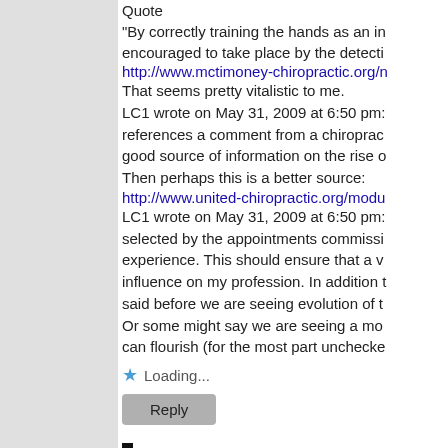Quote
“By correctly training the hands as an in... encouraged to take place by the detecti...
http://www.mctimoney-chiropractic.org/n...
That seems pretty vitalistic to me.
LC1 wrote on May 31, 2009 at 6:50 pm: references a comment from a chiroprac... good source of information on the rise o...
Then perhaps this is a better source:
http://www.united-chiropractic.org/modu...
LC1 wrote on May 31, 2009 at 6:50 pm: selected by the appointments commissi... experience. This should ensure that a v... influence on my profession. In addition t... said before we are seeing evolution of t... Or some might say we are seeing a mo... can flourish (for the most part unchecke...
Loading...
Reply
The NICE fiasco, Part 3. Too m...
says:
June 3, 2009 at 08:20
[...] The first post was NICE falls for B... it has let down the public and i.... [...]
Loading...
Reply